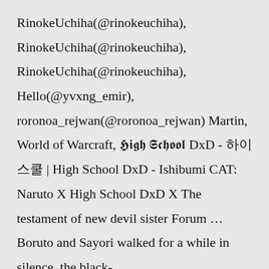RinokeUchiha(@rinokeuchiha), RinokeUchiha(@rinokeuchiha), RinokeUchiha(@rinokeuchiha), Hello(@yvxng_emir), roronoa_rejwan(@roronoa_rejwan) Martin, World of Warcraft, 𝕳𝖎𝖌𝖍 𝕾𝖈𝖍𝖔𝖔𝖑 DxD - 하이 스쿨 | High School DxD - Ishibumi CAT: Naruto X High School DxD X The testament of new devil sister Forum … Boruto and Sayori walked for a while in silence, the black-